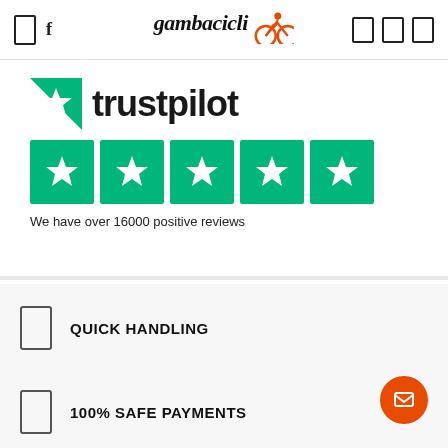gambacicli [navigation icons]
[Figure (logo): Gambacicli logo with italic serif text and orange bicycle rider icon]
[Figure (illustration): Trustpilot branding: half-star logo, 'trustpilot' text, five green star rating boxes]
We have over 16000 positive reviews
QUICK HANDLING
100% SAFE PAYMENTS
EASY RETURN